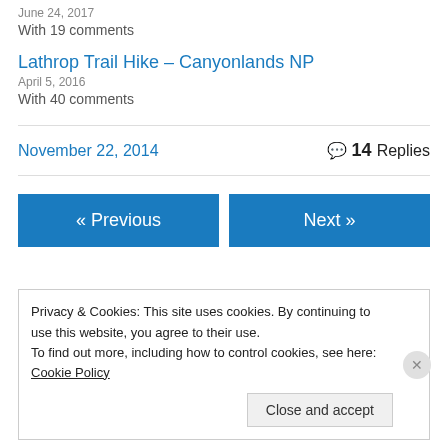June 24, 2017
With 19 comments
Lathrop Trail Hike – Canyonlands NP
April 5, 2016
With 40 comments
November 22, 2014
14 Replies
« Previous
Next »
Privacy & Cookies: This site uses cookies. By continuing to use this website, you agree to their use.
To find out more, including how to control cookies, see here: Cookie Policy
Close and accept